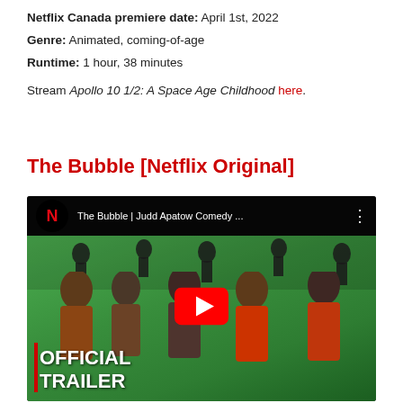Netflix Canada premiere date: April 1st, 2022
Genre: Animated, coming-of-age
Runtime: 1 hour, 38 minutes
Stream Apollo 10 1/2: A Space Age Childhood here.
The Bubble [Netflix Original]
[Figure (screenshot): YouTube video thumbnail for 'The Bubble | Judd Apatow Comedy ...' showing actors on a green screen set with OFFICIAL TRAILER text overlay and Netflix branding]